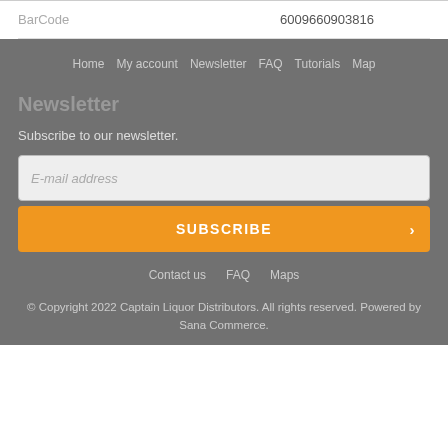| BarCode | 6009660903816 |
Home  My account  Newsletter  FAQ  Tutorials  Map
Newsletter
Subscribe to our newsletter.
E-mail address
SUBSCRIBE
Contact us  FAQ  Maps
© Copyright 2022 Captain Liquor Distributors. All rights reserved. Powered by Sana Commerce.